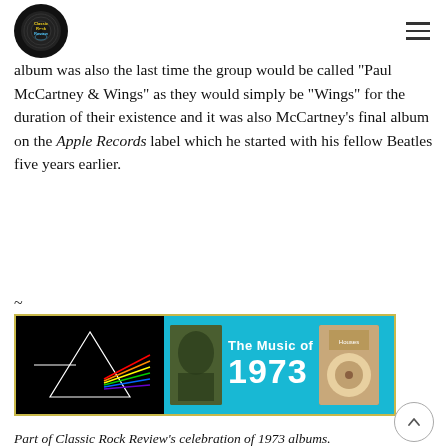Classic Rock Review (logo + navigation)
album was also the last time the group would be called “Paul McCartney & Wings” as they would simply be “Wings” for the duration of their existence and it was also McCartney’s final album on the Apple Records label which he started with his fellow Beatles five years earlier.
~
[Figure (infographic): Banner advertisement for Classic Rock Review's The Music of 1973 feature. Dark background on left with Pink Floyd prism rainbow graphic. Teal/cyan center with text 'The Music of 1973'. Band photo and album cover on the right side.]
Part of Classic Rock Review’s celebration of 1973 albums.